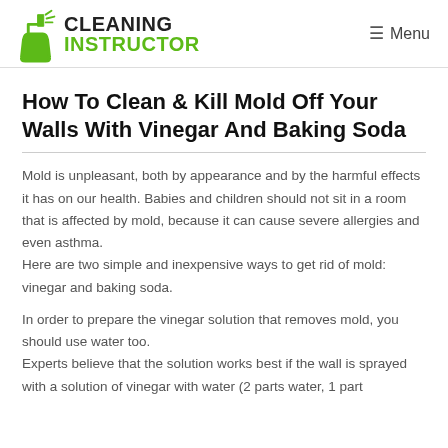Cleaning Instructor | Menu
How To Clean & Kill Mold Off Your Walls With Vinegar And Baking Soda
Mold is unpleasant, both by appearance and by the harmful effects it has on our health. Babies and children should not sit in a room that is affected by mold, because it can cause severe allergies and even asthma. Here are two simple and inexpensive ways to get rid of mold: vinegar and baking soda.
In order to prepare the vinegar solution that removes mold, you should use water too. Experts believe that the solution works best if the wall is sprayed with a solution of vinegar with water (2 parts water, 1 part